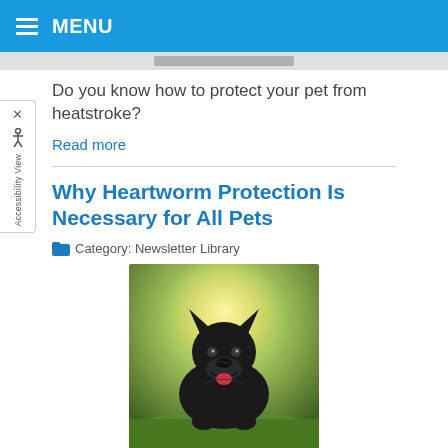MENU
Do you know how to protect your pet from heatstroke?
Read more
Why Heartworm Protection Is Necessary for All Pets
Category: Newsletter Library
[Figure (photo): A dark-furred dog (German Shepherd type) lying on grass outdoors with sunlight in the background, mouth open in a happy expression.]
Is your pet protected against heartworm?